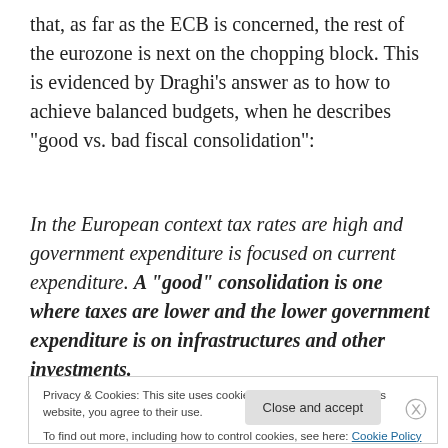that, as far as the ECB is concerned, the rest of the eurozone is next on the chopping block. This is evidenced by Draghi’s answer as to how to achieve balanced budgets, when he describes “good vs. bad fiscal consolidation”:
In the European context tax rates are high and government expenditure is focused on current expenditure. A “good” consolidation is one where taxes are lower and the lower government expenditure is on infrastructures and other investments.
Privacy & Cookies: This site uses cookies. By continuing to use this website, you agree to their use.
To find out more, including how to control cookies, see here: Cookie Policy